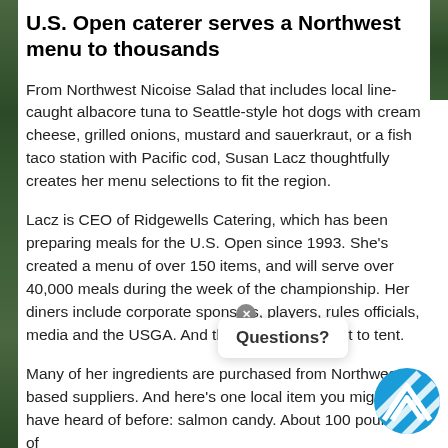U.S. Open caterer serves a Northwest menu to thousands
From Northwest Nicoise Salad that includes local line-caught albacore tuna to Seattle-style hot dogs with cream cheese, grilled onions, mustard and sauerkraut, or a fish taco station with Pacific cod, Susan Lacz thoughtfully creates her menu selections to fit the region.
Lacz is CEO of Ridgewells Catering, which has been preparing meals for the U.S. Open since 1993. She's created a menu of over 150 items, and will serve over 40,000 meals during the week of the championship. Her diners include corporate sponsors, players, rules officials, media and the USGA. And the menu varies tent to tent.
Many of her ingredients are purchased from Northwest-based suppliers. And here's one local item you might not have heard of before: salmon candy. About 100 pounds of
[Figure (other): Questions? popup overlay with close button and blue circular logo with diagonal stripe pattern]